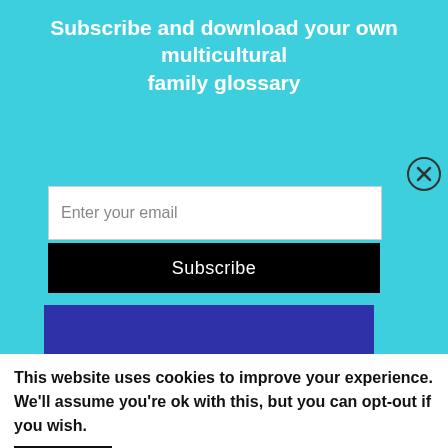Subscribe and download your own multicultural family glossary
Enter your email
Subscribe
[Figure (illustration): Blue/indigo card with text: Hispanic Heritage Month Decor Ideas beyond tacos & sombreros — SPANISH MAMA FOR MULTICULTURAL KID BLOGS]
by Hispanic Heritage Month honours the
This website uses cookies to improve your experience. We'll assume you're ok with this, but you can opt-out if you wish.
Accept
Read More